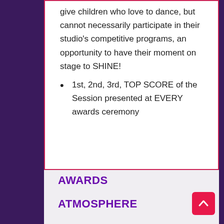give children who love to dance, but cannot necessarily participate in their studio's competitive programs, an opportunity to have their moment on stage to SHINE!
1st, 2nd, 3rd, TOP SCORE of the Session presented at EVERY awards ceremony
AWARDS
ATMOSPHERE